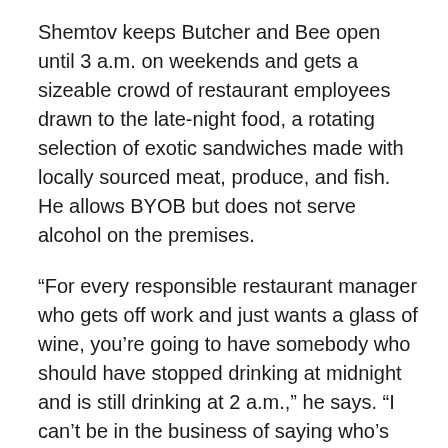Shemtov keeps Butcher and Bee open until 3 a.m. on weekends and gets a sizeable crowd of restaurant employees drawn to the late-night food, a rotating selection of exotic sandwiches made with locally sourced meat, produce, and fish. He allows BYOB but does not serve alcohol on the premises.
“For every responsible restaurant manager who gets off work and just wants a glass of wine, you’re going to have somebody who should have stopped drinking at midnight and is still drinking at 2 a.m.,” he says. “I can’t be in the business of saying who’s sober and who’s drunk and who should be allowed to continue to drink.”